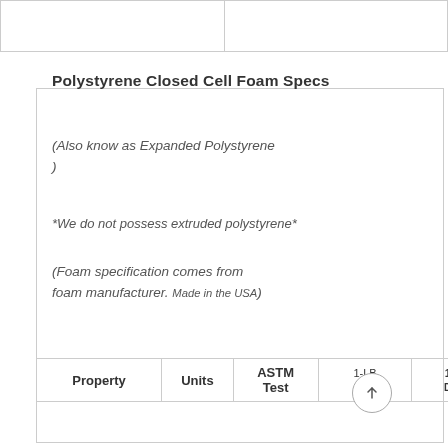|  |  |
| --- | --- |
|  |  |
Polystyrene Closed Cell Foam Specs
(Also know as Expanded Polystyrene )
*We do not possess extruded polystyrene*
(Foam specification comes from foam manufacturer. Made in the USA)
| Property | Units | ASTM Test | 1-LB | D |
| --- | --- | --- | --- | --- |